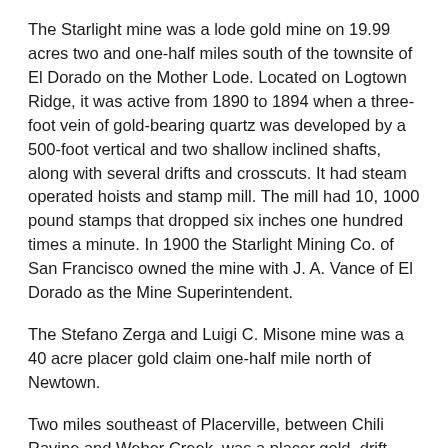The Starlight mine was a lode gold mine on 19.99 acres two and one-half miles south of the townsite of El Dorado on the Mother Lode. Located on Logtown Ridge, it was active from 1890 to 1894 when a three-foot vein of gold-bearing quartz was developed by a 500-foot vertical and two shallow inclined shafts, along with several drifts and crosscuts. It had steam operated hoists and stamp mill. The mill had 10, 1000 pound stamps that dropped six inches one hundred times a minute. In 1900 the Starlight Mining Co. of San Francisco owned the mine with J. A. Vance of El Dorado as the Mine Superintendent.
The Stefano Zerga and Luigi C. Misone mine was a 40 acre placer gold claim one-half mile north of Newtown.
Two miles southeast of Placerville, between Chili Ravine and Weber Creek, was a placer gold, drift mine known as the Stewart mine. It was active in the 1880s and early 1890s.
The Stifle mine (often called the Stifle Claim) was a chromite mine three miles northeast of Garden Valley, near a tributary of